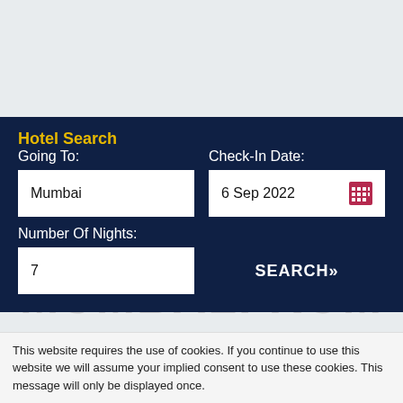Hotel Search
Going To:
Mumbai
Check-In Date:
6 Sep 2022
Number Of Nights:
7
SEARCH»
MUMBALFROM
This website requires the use of cookies. If you continue to use this website we will assume your implied consent to use these cookies. This message will only be displayed once.